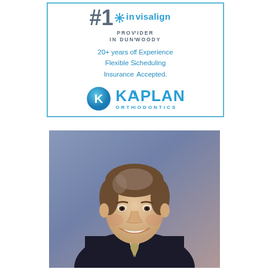[Figure (logo): Kaplan Orthodontics advertisement box with #1 Invisalign Provider in Dunwoody, 20+ years of Experience, Flexible Scheduling, Insurance Accepted. Kaplan Orthodontics logo with blue circle K and blue text.]
[Figure (photo): Professional headshot photo of a middle-aged man with brown/grey hair, wearing a dark suit and tie, smiling, against a blue/purple background.]